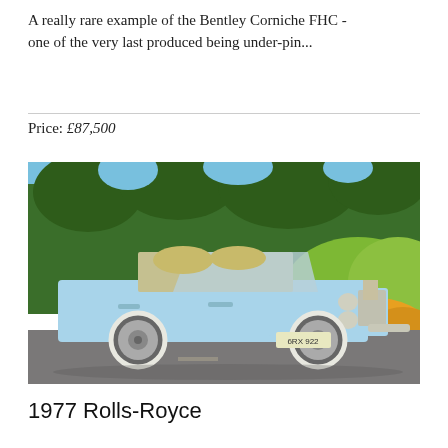A really rare example of the Bentley Corniche FHC - one of the very last produced being under-pin...
Price: £87,500
[Figure (photo): Photograph of a light blue Bentley Corniche convertible with cream interior, parked on a road with autumn trees in the background. Registration plate visible: 6RX 922.]
1977 Rolls-Royce